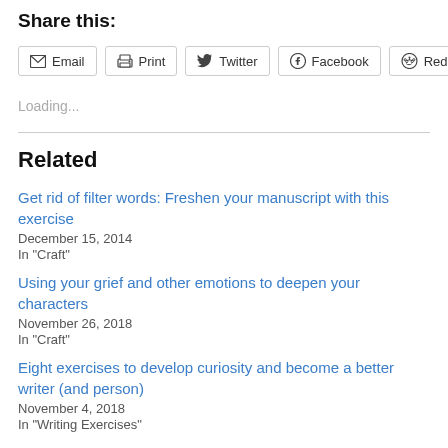Share this:
Email  Print  Twitter  Facebook  Reddit
Loading...
Related
Get rid of filter words: Freshen your manuscript with this exercise
December 15, 2014
In "Craft"
Using your grief and other emotions to deepen your characters
November 26, 2018
In "Craft"
Eight exercises to develop curiosity and become a better writer (and person)
November 4, 2018
In "Writing Exercises"